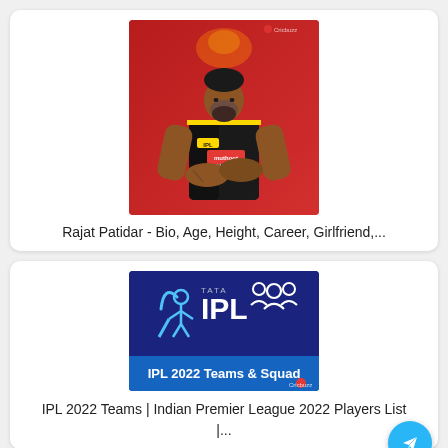[Figure (photo): Rajat Patidar in RCB jersey with arms crossed, red background with RCB logo]
Rajat Patidar - Bio, Age, Height, Career, Girlfriend,...
[Figure (logo): TATA IPL 2022 Teams & Squad promotional image on dark blue background]
IPL 2022 Teams | Indian Premier League 2022 Players List |...